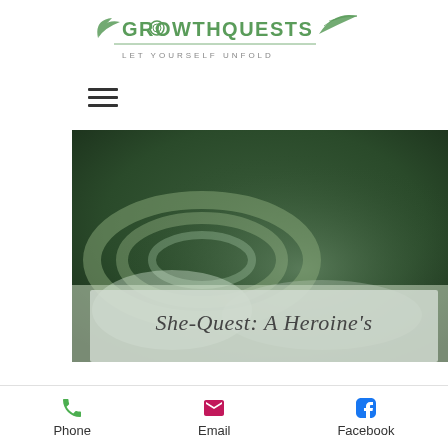[Figure (logo): GrowthQuests logo with text 'LET YOURSELF UNFOLD' and a decorative leaf/fern design]
[Figure (other): Hamburger menu icon (three horizontal lines)]
[Figure (photo): Aerial photo of a winding path or field with circular patterns, with a semi-transparent overlay at the bottom containing cursive text 'She-Quest: A Heroine's']
Phone   Email   Facebook